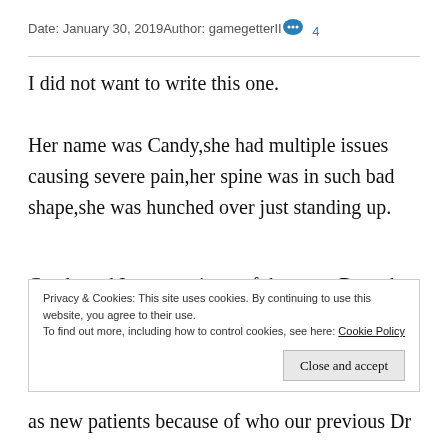Date: January 30, 2019   Author: gamegetterII   💬 4
I did not want to write this one.
Her name was Candy,she had multiple issues causing severe pain,her spine was in such bad shape,she was hunched over just standing up.
Candy and I were patients of the same Dr at the same pain clinic,and cut off all meds at the same time when our Dr had his license suspended for abusing propofol
Privacy & Cookies: This site uses cookies. By continuing to use this website, you agree to their use. To find out more, including how to control cookies, see here: Cookie Policy
as new patients because of who our previous Dr was.